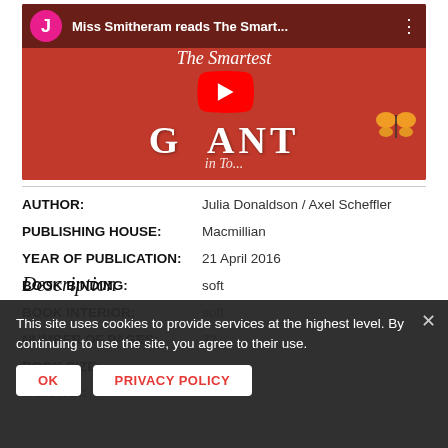[Figure (screenshot): YouTube video thumbnail showing 'Miss Smitheram reads The Smart...' with a pink avatar circle with letter J, red YouTube play button overlay, and a book cover with 'GIANT' text on red brick background with butterfly illustration.]
| AUTHOR: | Julia Donaldson / Axel Scheffler |
| PUBLISHING HOUSE: | Macmillian |
| YEAR OF PUBLICATION: | 21 April 2016 |
| BOOK BINDING: | soft |
| BOOK INTERIOR: | soft |
| NUMBER OF PAGES: | 32 |
| BOOK SIZE: |  |
| ISBN NO.: |  |
This site uses cookies to provide services at the highest level. By continuing to use the site, you agree to their use.
Description